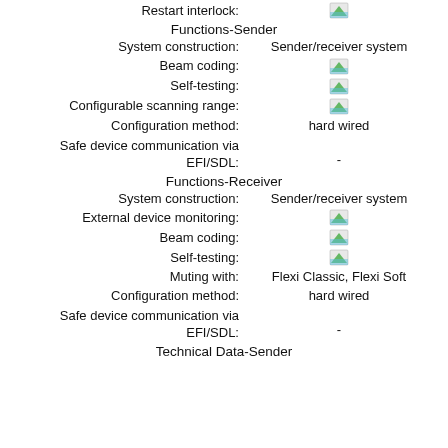Restart interlock:
Functions-Sender
System construction: Sender/receiver system
Beam coding: [icon]
Self-testing: [icon]
Configurable scanning range: [icon]
Configuration method: hard wired
Safe device communication via EFI/SDL: -
Functions-Receiver
System construction: Sender/receiver system
External device monitoring: [icon]
Beam coding: [icon]
Self-testing: [icon]
Muting with: Flexi Classic, Flexi Soft
Configuration method: hard wired
Safe device communication via EFI/SDL: -
Technical Data-Sender